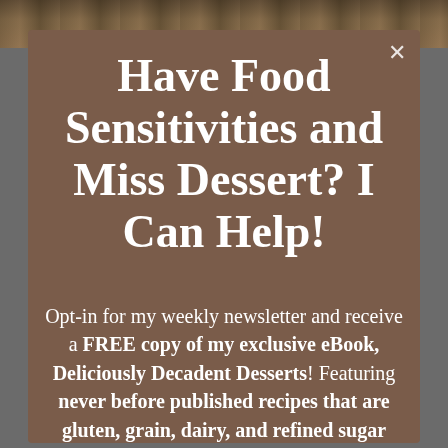[Figure (photo): Food photo strip at top showing baked goods on a wooden surface]
Have Food Sensitivities and Miss Dessert? I Can Help!
Opt-in for my weekly newsletter and receive a FREE copy of my exclusive eBook, Deliciously Decadent Desserts! Featuring never before published recipes that are gluten, grain, dairy, and refined sugar free! Now you can make allergy-friendly treats the whole family will love. In addition, you'll receive weekly